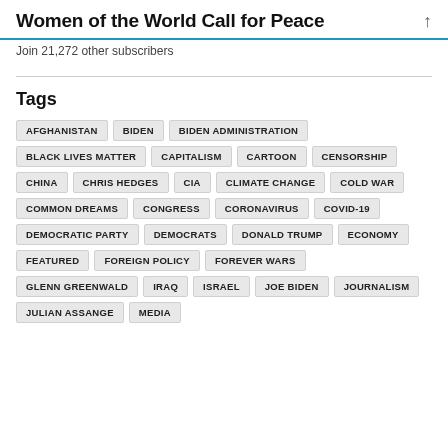Women of the World Call for Peace
Join 21,272 other subscribers
Tags
AFGHANISTAN
BIDEN
BIDEN ADMINISTRATION
BLACK LIVES MATTER
CAPITALISM
CARTOON
CENSORSHIP
CHINA
CHRIS HEDGES
CIA
CLIMATE CHANGE
COLD WAR
COMMON DREAMS
CONGRESS
CORONAVIRUS
COVID-19
DEMOCRATIC PARTY
DEMOCRATS
DONALD TRUMP
ECONOMY
FEATURED
FOREIGN POLICY
FOREVER WARS
GLENN GREENWALD
IRAQ
ISRAEL
JOE BIDEN
JOURNALISM
JULIAN ASSANGE
MEDIA